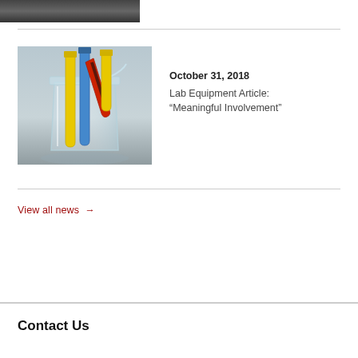[Figure (photo): Partial photo of a person at the top of the page, cropped]
[Figure (photo): Photo of a glass beaker containing colorful laboratory test tubes (yellow, blue, red, black) arranged vertically]
October 31, 2018
Lab Equipment Article: “Meaningful Involvement”
View all news →
Contact Us